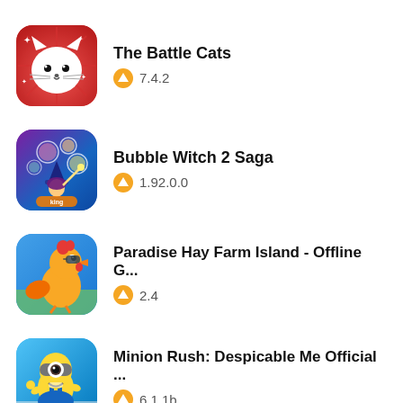[Figure (screenshot): Green app store bar stub at top]
The Battle Cats 7.4.2
Bubble Witch 2 Saga 1.92.0.0
Paradise Hay Farm Island - Offline G... 2.4
Minion Rush: Despicable Me Official ... 6.1.1b